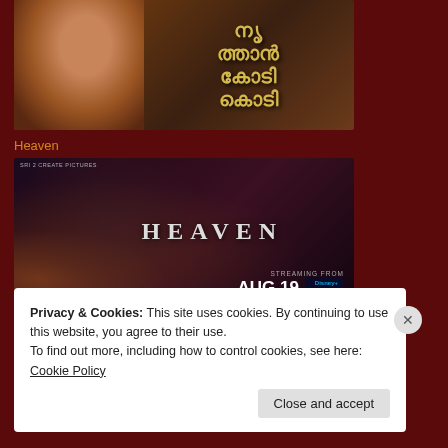[Figure (photo): Movie poster/banner with a smiling bearded man and Malayalam script title text in gold/yellow]
Heaven
[Figure (photo): Heaven movie banner showing two men standing back to back with the word HEAVEN in large letters, streaming from AUG 19 on Disney+ Hotstar]
Makal
[Figure (photo): Partially visible movie banner for Makal]
Privacy & Cookies: This site uses cookies. By continuing to use this website, you agree to their use.
To find out more, including how to control cookies, see here: Cookie Policy
Close and accept